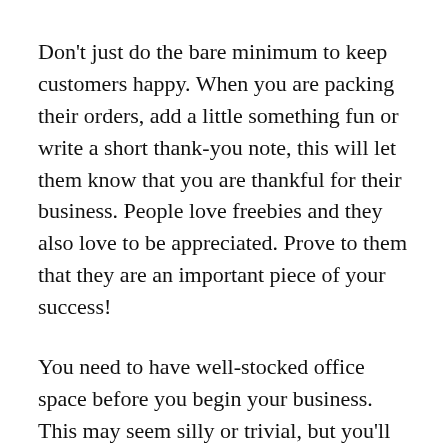Don't just do the bare minimum to keep customers happy. When you are packing their orders, add a little something fun or write a short thank-you note, this will let them know that you are thankful for their business. People love freebies and they also love to be appreciated. Prove to them that they are an important piece of your success!
You need to have well-stocked office space before you begin your business. This may seem silly or trivial, but you'll need a comfortable office and the right supplies to be able to get to work.